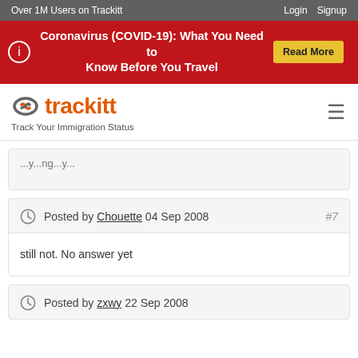Over 1M Users on Trackitt | Login | Signup
Coronavirus (COVID-19): What You Need to Know Before You Travel   Read More
trackitt — Track Your Immigration Status
Posted by Chouette 04 Sep 2008  #7
still not. No answer yet
Posted by zxwy 22 Sep 2008